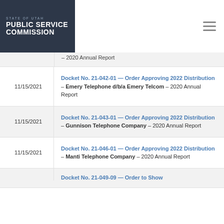STATE OF UTAH PUBLIC SERVICE COMMISSION
11/15/2021 — Docket No. 21-042-01 — Order Approving 2022 Distribution – Emery Telephone d/b/a Emery Telcom – 2020 Annual Report
11/15/2021 — Docket No. 21-043-01 — Order Approving 2022 Distribution – Gunnison Telephone Company – 2020 Annual Report
11/15/2021 — Docket No. 21-046-01 — Order Approving 2022 Distribution – Manti Telephone Company – 2020 Annual Report
11/15/2021 — Docket No. 21-049-09 — Order to Show...